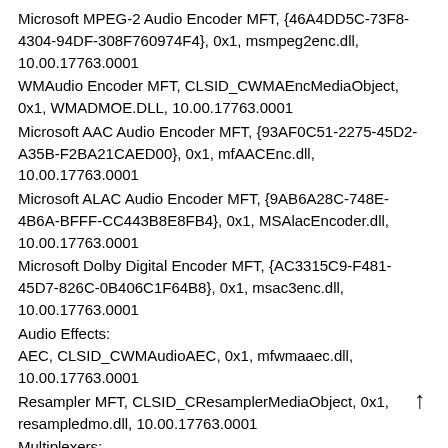Microsoft MPEG-2 Audio Encoder MFT, {46A4DD5C-73F8-4304-94DF-308F760974F4}, 0x1, msmpeg2enc.dll, 10.00.17763.0001
WMAudio Encoder MFT, CLSID_CWMAEncMediaObject, 0x1, WMADMOE.DLL, 10.00.17763.0001
Microsoft AAC Audio Encoder MFT, {93AF0C51-2275-45D2-A35B-F2BA21CAED00}, 0x1, mfAACEnc.dll, 10.00.17763.0001
Microsoft ALAC Audio Encoder MFT, {9AB6A28C-748E-4B6A-BFFF-CC443B8E8FB4}, 0x1, MSAlacEncoder.dll, 10.00.17763.0001
Microsoft Dolby Digital Encoder MFT, {AC3315C9-F481-45D7-826C-0B406C1F64B8}, 0x1, msac3enc.dll, 10.00.17763.0001
Audio Effects:
AEC, CLSID_CWMAudioAEC, 0x1, mfwmaaec.dll, 10.00.17763.0001
Resampler MFT, CLSID_CResamplerMediaObject, 0x1, resampledmo.dll, 10.00.17763.0001
Multiplexers:
Microsoft MPEG2 Multiplexer MFT, {AB300F71-01AB-…